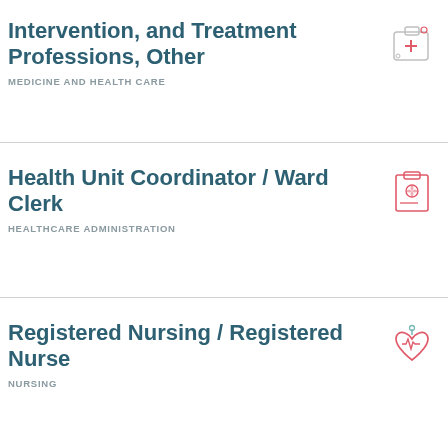Intervention, and Treatment Professions, Other
MEDICINE AND HEALTH CARE
Health Unit Coordinator / Ward Clerk
HEALTHCARE ADMINISTRATION
Registered Nursing / Registered Nurse
NURSING